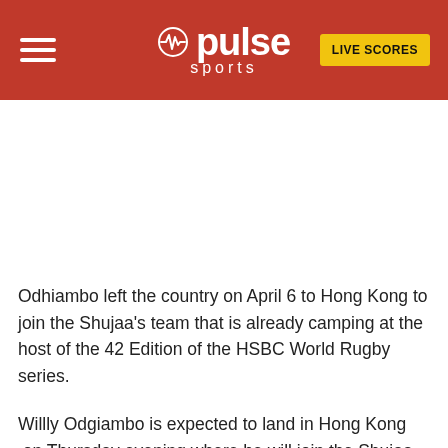pulse sports | LIVE SCORES
Odhiambo left the country on April 6 to Hong Kong to join the Shujaa's team that is already camping at the host of the 42 Edition of the HSBC World Rugby series.
Willly Odgiambo is expected to land in Hong Kong  on Thursday evening where he will join the Shujaa training camp to familiarize himself with few in tricks before the due